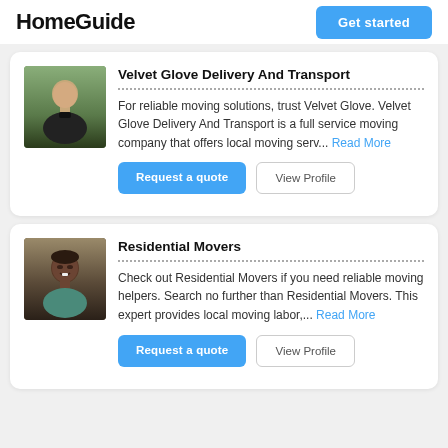HomeGuide
Velvet Glove Delivery And Transport
For reliable moving solutions, trust Velvet Glove. Velvet Glove Delivery And Transport is a full service moving company that offers local moving serv... Read More
Residential Movers
Check out Residential Movers if you need reliable moving helpers. Search no further than Residential Movers. This expert provides local moving labor,... Read More